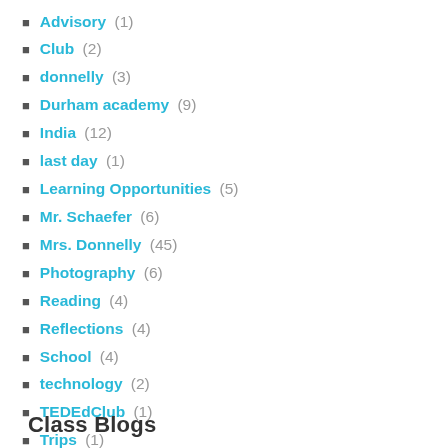Advisory (1)
Club (2)
donnelly (3)
Durham academy (9)
India (12)
last day (1)
Learning Opportunities (5)
Mr. Schaefer (6)
Mrs. Donnelly (45)
Photography (6)
Reading (4)
Reflections (4)
School (4)
technology (2)
TEDEdClub (1)
Trips (1)
Uncategorized (159)
Writing (6)
Class Blogs